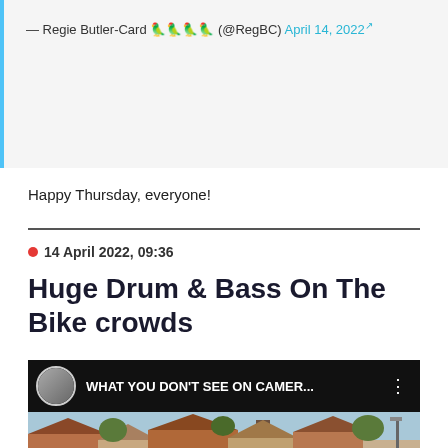— Regie Butler-Card 🦜🦜🦜🦜 (@RegBC) April 14, 2022 🔗
Happy Thursday, everyone!
● 14 April 2022, 09:36
Huge Drum & Bass On The Bike crowds
[Figure (screenshot): YouTube video thumbnail showing 'WHAT YOU DON'T SEE ON CAMER...' with a circular avatar of a person on the left, three-dot menu on the right, and a scene of rooftops and trees below against a light blue sky.]